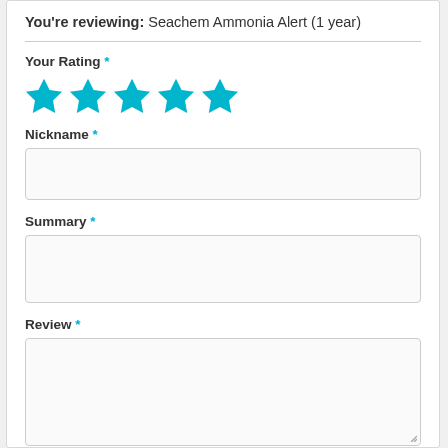You're reviewing: Seachem Ammonia Alert (1 year)
Your Rating *
[Figure (other): Five cyan/teal filled star icons representing a 5-star rating]
Nickname *
Summary *
Review *